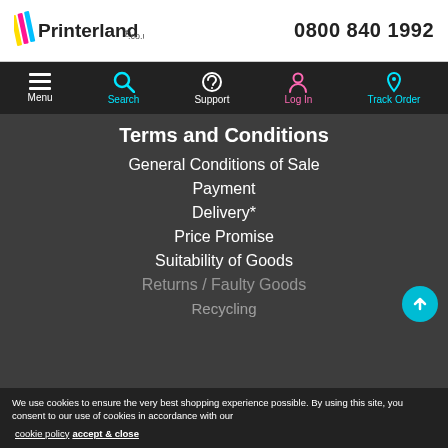Printerland.co.uk | 0800 840 1992
[Figure (logo): Printerland.co.uk logo with colorful stripes and phone number 0800 840 1992]
[Figure (infographic): Navigation bar with Menu, Search, Support, Log In, Track Order icons]
Terms and Conditions
General Conditions of Sale
Payment
Delivery*
Price Promise
Suitability of Goods
Returns / Faulty Goods
Recycling
We use cookies to ensure the very best shopping experience possible. By using this site, you consent to our use of cookies in accordance with our cookie policy  accept & close